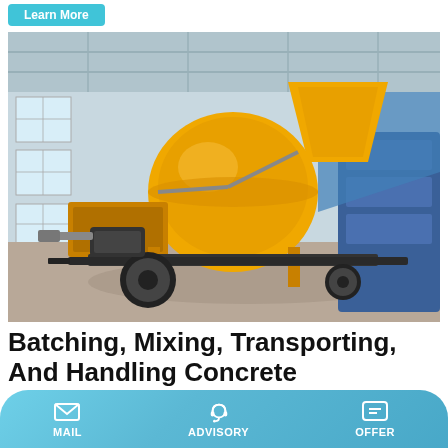Learn More
[Figure (photo): Yellow concrete mixer machine with pump on a wheeled trailer frame, parked inside an industrial warehouse. The machine features a large yellow drum, a hopper, and black wheels on a steel frame.]
Batching, Mixing, Transporting, And Handling Concrete
Apr 18, 2020 · Batching, Mixing, Transporting, and Handling
MAIL   ADVISORY   OFFER